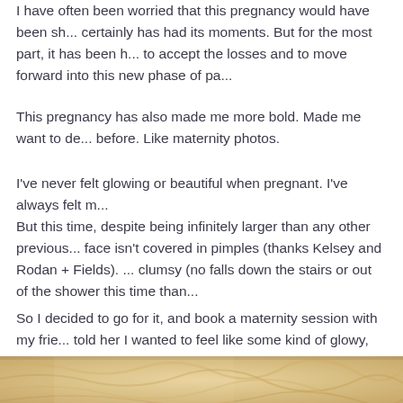I have often been worried that this pregnancy would have been sh... certainly has had its moments. But for the most part, it has been h... to accept the losses and to move forward into this new phase of pa...
This pregnancy has also made me more bold. Made me want to de... before. Like maternity photos.
I've never felt glowing or beautiful when pregnant. I've always felt m...
But this time, despite being infinitely larger than any other previous... face isn't covered in pimples (thanks Kelsey and Rodan + Fields). ... clumsy (no falls down the stairs or out of the shower this time than...
So I decided to go for it, and book a maternity session with my frie... told her I wanted to feel like some kind of glowy, ethereal, fertility g...
[Figure (photo): Close-up warm-toned photo with golden/beige fabric or textile texture, soft lighting suggesting a maternity photo session backdrop or draping fabric.]